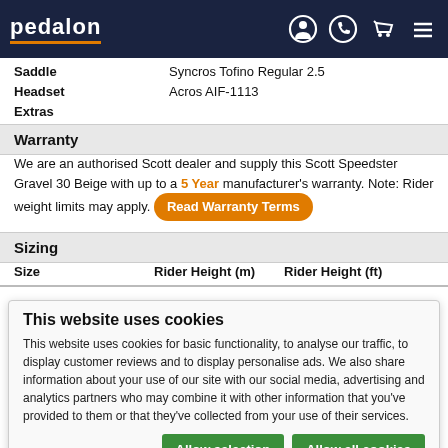pedalon
Saddle: Syncros Tofino Regular 2.5
Headset: Acros AIF-1113
Extras:
Warranty
We are an authorised Scott dealer and supply this Scott Speedster Gravel 30 Beige with up to a 5 Year manufacturer's warranty. Note: Rider weight limits may apply. Read Warranty Terms
Sizing
| Size | Rider Height (m) | Rider Height (ft) |
| --- | --- | --- |
This website uses cookies
This website uses cookies for basic functionality, to analyse our traffic, to display customer reviews and to display personalise ads. We also share information about your use of our site with our social media, advertising and analytics partners who may combine it with other information that you've provided to them or that they've collected from your use of their services.
Allow selection | Allow all cookies
Necessary | Preferences | Statistics | Marketing | Show details